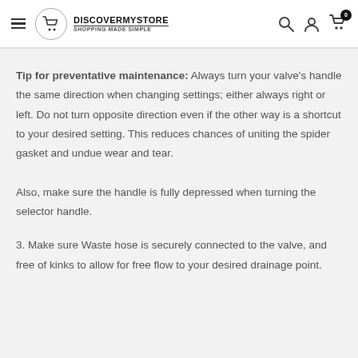DISCOVERMYSTORE — SHOPPING MADE SIMPLE
Tip for preventative maintenance: Always turn your valve's handle the same direction when changing settings; either always right or left. Do not turn opposite direction even if the other way is a shortcut to your desired setting. This reduces chances of uniting the spider gasket and undue wear and tear.

Also, make sure the handle is fully depressed when turning the selector handle.
3. Make sure Waste hose is securely connected to the valve, and free of kinks to allow for free flow to your desired drainage point.